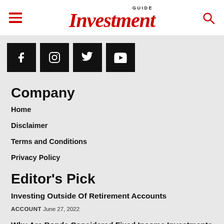GUIDE Investment
[Figure (other): Social media icon buttons: Facebook, Instagram, Twitter, YouTube — black square buttons with white icons]
Company
Home
Disclaimer
Terms and Conditions
Privacy Policy
Editor's Pick
Investing Outside Of Retirement Accounts
ACCOUNT  June 27, 2022
Why Are Bonds Considered Fixed Income Investments